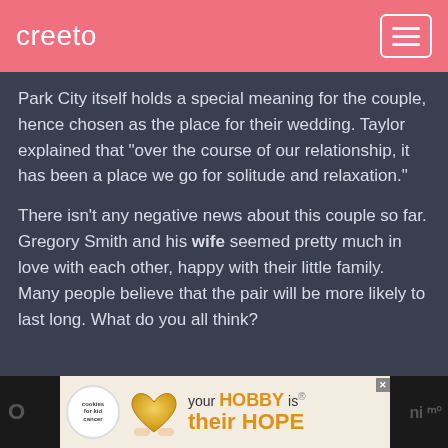creeto
Park City itself holds a special meaning for the couple, hence chosen as the place for their wedding. Taylor explained that “over the course of our relationship, it has been a place we go for solitude and relaxation.”
There isn’t any negative news about this couple so far. Gregory Smith and his wife seemed pretty much in love with each other, happy with their little family. Many people believe that the pair will be more likely to last long. What do you all think?
[Figure (other): Advertisement banner: cookies for kid cancer logo, heart-shaped cookie photo, text 'your HOBBY is their HOPE']